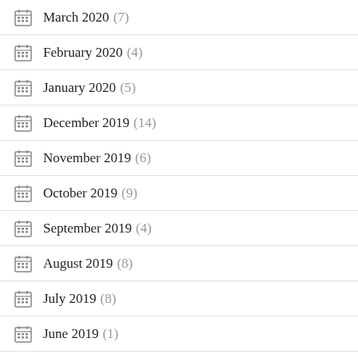March 2020 (7)
February 2020 (4)
January 2020 (5)
December 2019 (14)
November 2019 (6)
October 2019 (9)
September 2019 (4)
August 2019 (8)
July 2019 (8)
June 2019 (1)